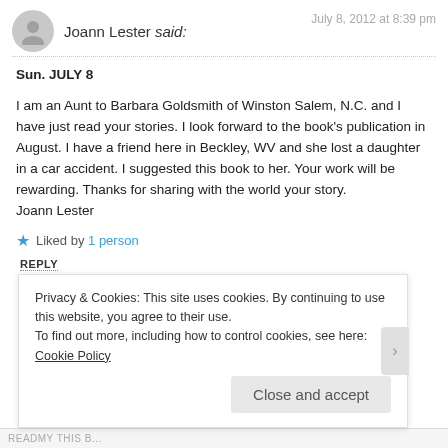Joann Lester said: July 8, 2012 at 8:39 pm
Sun. JULY 8

I am an Aunt to Barbara Goldsmith of Winston Salem, N.C. and I have just read your stories. I look forward to the book’s publication in August. I have a friend here in Beckley, WV and she lost a daughter in a car accident. I suggested this book to her. Your work will be rewarding. Thanks for sharing with the world your story.
Joann Lester
Liked by 1 person
REPLY
Privacy & Cookies: This site uses cookies. By continuing to use this website, you agree to their use.
To find out more, including how to control cookies, see here: Cookie Policy
Close and accept